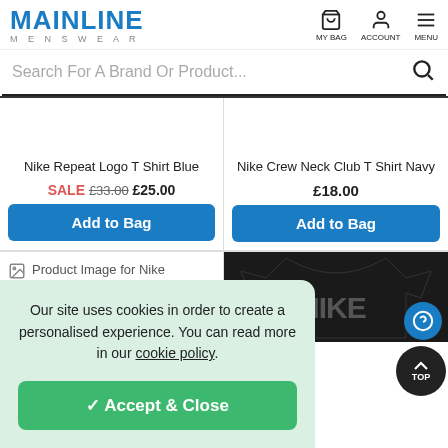MAINLINE MENSWEAR — MY BAG, ACCOUNT, MENU
Search For A Brand Or Product...
Nike Repeat Logo T Shirt Blue
SALE £33.00 £25.00
Add to Bag
Nike Crew Neck Club T Shirt Navy
£18.00
Add to Bag
[Figure (screenshot): Product image placeholder for Nike product (broken image icon with text)]
[Figure (photo): Nike black t-shirt with large NIKE logo in grey on front]
Our site uses cookies in order to create a personalised experience. You can read more in our cookie policy.
✓ Accept & Close